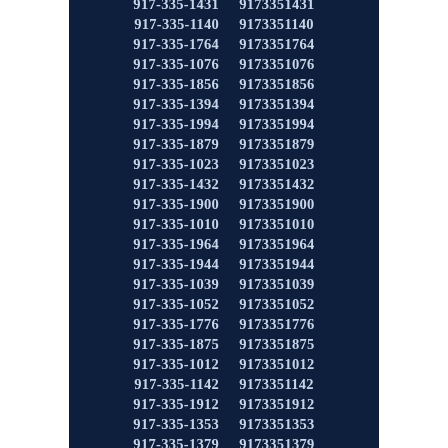| 917-335-1168 | 9173351168 |
| 917-335-1431 | 9173351431 |
| 917-335-1140 | 9173351140 |
| 917-335-1764 | 9173351764 |
| 917-335-1076 | 9173351076 |
| 917-335-1856 | 9173351856 |
| 917-335-1394 | 9173351394 |
| 917-335-1994 | 9173351994 |
| 917-335-1879 | 9173351879 |
| 917-335-1023 | 9173351023 |
| 917-335-1432 | 9173351432 |
| 917-335-1900 | 9173351900 |
| 917-335-1010 | 9173351010 |
| 917-335-1964 | 9173351964 |
| 917-335-1944 | 9173351944 |
| 917-335-1039 | 9173351039 |
| 917-335-1052 | 9173351052 |
| 917-335-1776 | 9173351776 |
| 917-335-1875 | 9173351875 |
| 917-335-1012 | 9173351012 |
| 917-335-1142 | 9173351142 |
| 917-335-1912 | 9173351912 |
| 917-335-1353 | 9173351353 |
| 917-335-1379 | 9173351379 |
| 917-335-1436 | 9173351436 |